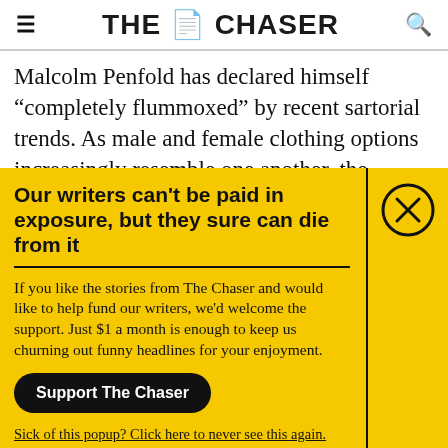THE CHASER
Malcolm Penfold has declared himself “completely flummoxed” by recent sartorial trends. As male and female clothing options increasingly resemble one another, the bearded 54-year-old
Our writers can't be paid in exposure, but they sure can die from it
If you like the stories from The Chaser and would like to help fund our writers, we'd welcome the support. Just $1 a month is enough to keep us churning out funny headlines for your enjoyment.
Support The Chaser
Sick of this popup? Click here to never see this again.